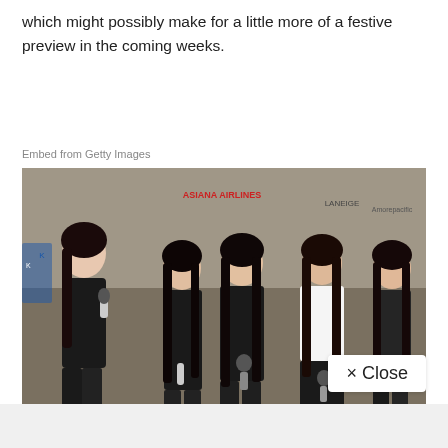which might possibly make for a little more of a festive preview in the coming weeks.
Embed from Getty Images
[Figure (photo): Five young women in black outfits standing in front of a branded backdrop with Asiana Airlines and Laneige logos, some holding microphones. One woman on far right is in white. They appear to be at a press event or red carpet.]
× Close